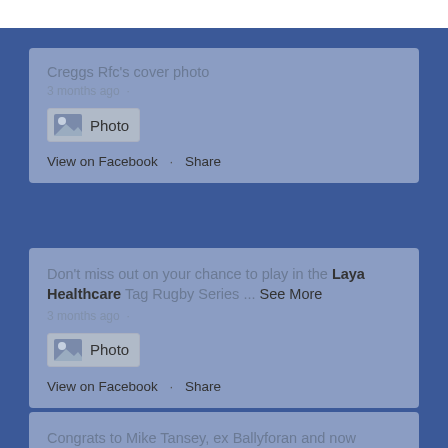Creggs Rfc's cover photo
3 months ago ·
[Figure (other): Photo thumbnail icon with label 'Photo']
View on Facebook · Share
Don't miss out on your chance to play in the Laya Healthcare Tag Rugby Series ... See More
3 months ago ·
[Figure (other): Photo thumbnail icon with label 'Photo']
View on Facebook · Share
Congrats to Mike Tansey, ex Ballyforan and now Canada, on his marriage to Kas ... See More